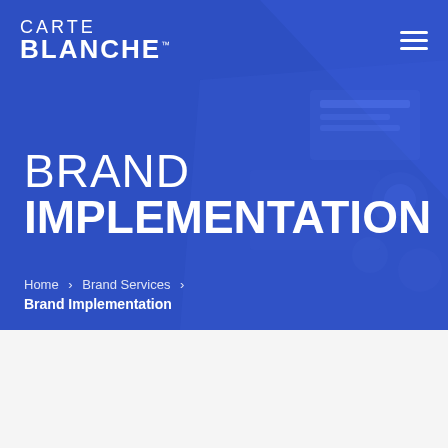CARTE BLANCHE™
BRAND IMPLEMENTATION
Home > Brand Services > Brand Implementation
BRANDSCAPE
[Figure (photo): A horizontal strip of brand identity mockups including people, green brand assets, logos for milez, nextdoor, pressreader, and other brands on green and white backgrounds.]